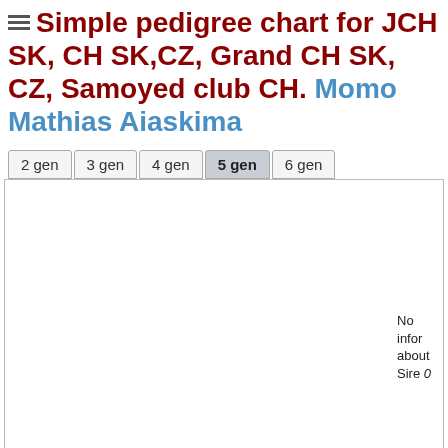Simple pedigree chart for JCH SK, CH SK,CZ, Grand CH SK, CZ, Samoyed club CH. Momo Mathias Aiaskima
2 gen  3 gen  4 gen  5 gen  6 gen
[Figure (other): Pedigree chart area showing 5 generations. Mostly blank with a partial text box on the right edge reading 'No infor about Sire' and italic '0'.]